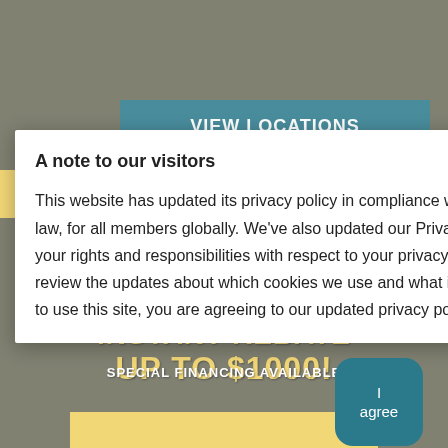[Figure (screenshot): Website background with teal navigation bar showing 'VIEW LOCATIONS', yellow promotional banner, and overlaid text showing 'INSTANT REBATE UP TO $1000!' and 'SPECIAL FINANCING AVAILABLE']
A note to our visitors
This website has updated its privacy policy in compliance with changes to European Union data protection law, for all members globally. We've also updated our Privacy Policy to give you more information about your rights and responsibilities with respect to your privacy and personal information. Please read this to review the updates about which cookies we use and what information we collect on our site. By continuing to use this site, you are agreeing to our updated privacy policy.
I agree